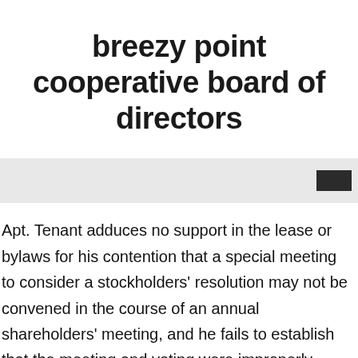breezy point cooperative board of directors
[Figure (other): Gray horizontal bar with a dark rectangular block on the right side]
Apt. Tenant adduces no support in the lease or bylaws for his contention that a special meeting to consider a stockholders' resolution may not be convened in the course of an annual shareholders' meeting, and he fails to establish that the meeting and voting were improperly conducted. Use this simple tool to identify and report issues for resolution. The 1940 headline referred to fixup work at the The proposed